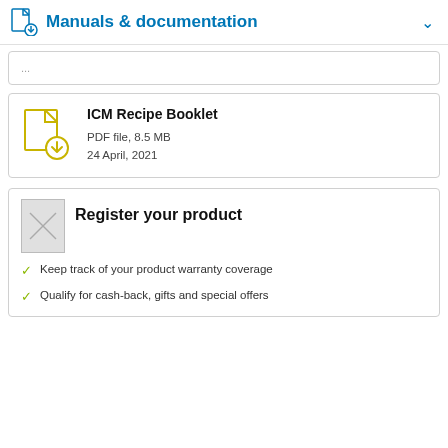Manuals & documentation
PDF file, …
ICM Recipe Booklet
PDF file, 8.5 MB
24 April, 2021
Register your product
Keep track of your product warranty coverage
Qualify for cash-back, gifts and special offers